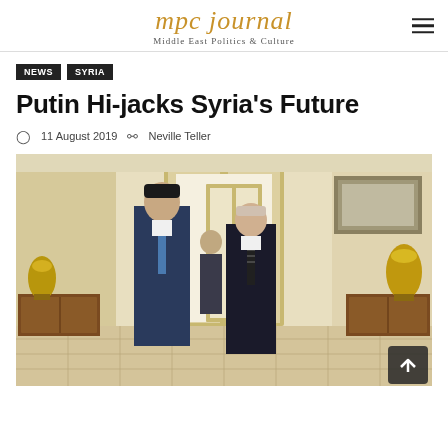mpc journal — Middle East Politics & Culture
NEWS
SYRIA
Putin Hi-jacks Syria's Future
11 August 2019 · Neville Teller
[Figure (photo): Two men in suits walking through ornate hall — Assad and Putin at a formal meeting in an opulent room with marble walls, gilded doors, antique furniture and decorative urns.]